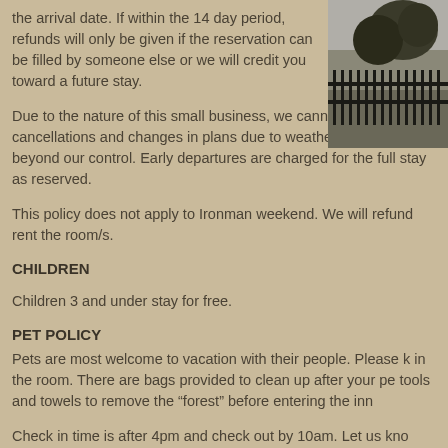the arrival date. If within the 14 day period, refunds will only be given if the reservation can be filled by someone else or we will credit you toward a future stay.
[Figure (photo): Black and white photograph of a building exterior with iron fence and trees]
Due to the nature of this small business, we cannot absorb late cancellations and changes in plans due to weather or reasons beyond our control. Early departures are charged for the full stay as reserved.
This policy does not apply to Ironman weekend. We will refund rent the room/s.
CHILDREN
Children 3 and under stay for free.
PET POLICY
Pets are most welcome to vacation with their people. Please k in the room. There are bags provided to clean up after your pe tools and towels to remove the “forest” before entering the inn
Check in time is after 4pm and check out by 10am. Let us kno